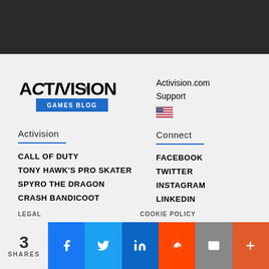[Figure (logo): Activision Games Blog logo — bold ACTIVISION text with blue GAMES BLOG badge]
Activision.com
Support
[Figure (illustration): US flag icon]
Activision
Connect
CALL OF DUTY
TONY HAWK'S PRO SKATER
SPYRO THE DRAGON
CRASH BANDICOOT
SEKIRO: SHADOWS DIE TWICE
FACEBOOK
TWITTER
INSTAGRAM
LINKEDIN
LEGAL   COOKIE POLICY
3 SHARES